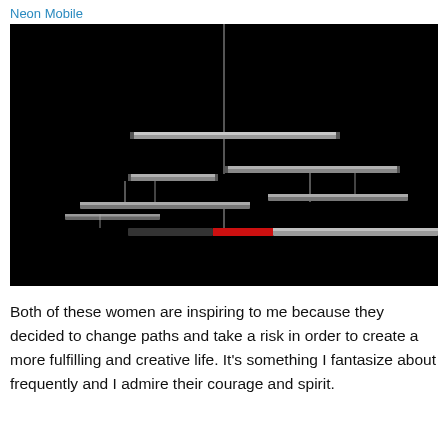Neon Mobile
[Figure (photo): A sculptural pendant light fixture called 'Neon Mobile' photographed against a black background. The fixture consists of multiple horizontal aluminum/metal bars at various levels and angles, suspended from a central vertical rod. One bar near the bottom features a red accent. The overall appearance is of a modernist kinetic-style ceiling lamp.]
Both of these women are inspiring to me because they decided to change paths and take a risk in order to create a more fulfilling and creative life.  It's something I fantasize about frequently and I admire their courage and spirit.